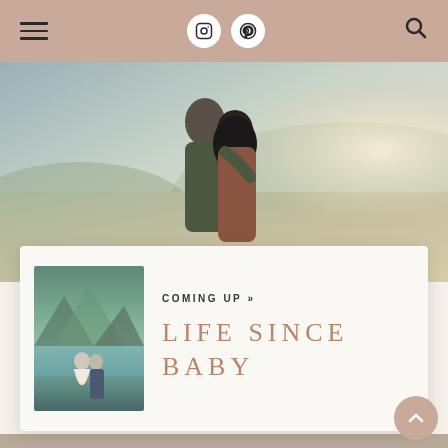Navigation header with hamburger menu, Instagram icon, Pinterest icon, and search icon
[Figure (photo): Couple embracing outdoors in an autumn field with rolling hills and glowing sunlight in the background]
COMING UP »
LIFE SINCE BABY
[Figure (photo): Thumbnail of a couple standing by a mountain lake, woman in a flowing white dress]
[Figure (photo): Pregnant woman in a hat and long dark coat standing in an autumn field]